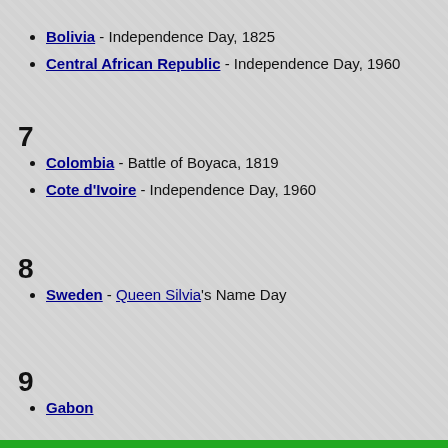Bolivia - Independence Day, 1825
Central African Republic - Independence Day, 1960
7
Colombia - Battle of Boyaca, 1819
Cote d'Ivoire - Independence Day, 1960
8
Sweden - Queen Silvia's Name Day
9
Gabon